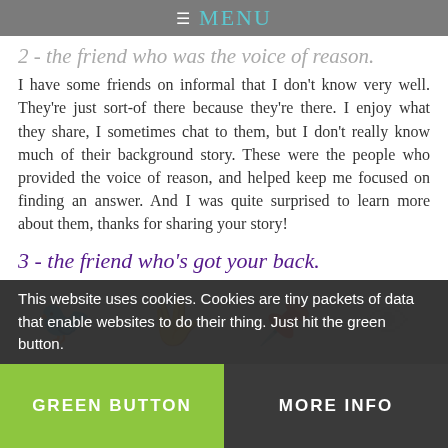≡ MENU
2 - the friend who was the voice of reason.
I have some friends on informal that I don't know very well. They're just sort-of there because they're there. I enjoy what they share, I sometimes chat to them, but I don't really know much of their background story. These were the people who provided the voice of reason, and helped keep me focused on finding an answer. And I was quite surprised to learn more about them, thanks for sharing your story!
3 - the friend who's got your back.
Sharing things on facebook can sometimes bring out the judgement in people. I knew before I posted who would judge, and I was right. But what I didn't expect was the friend who got into a scrum with Ms Judgey, and put her in her place. And Ms Judgey has been removed from my list at last.
4 - the friend who gives support from afar
This website uses cookies. Cookies are tiny packets of data that enable websites to do their thing. Just hit the green button.
GREEN BUTTON    MORE INFO